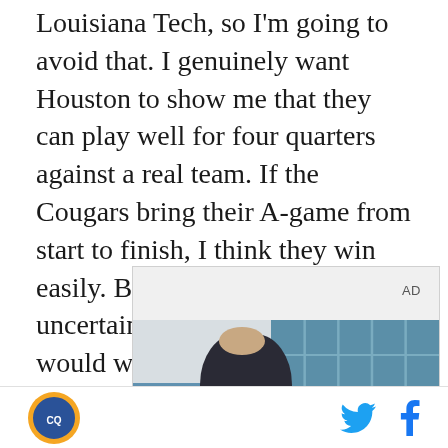Louisiana Tech, so I'm going to avoid that. I genuinely want Houston to show me that they can play well for four quarters against a real team. If the Cougars bring their A-game from start to finish, I think they win easily. But given all of the uncertainty around this game, I would willingly accept a win in any form. So I'll project a Cougar victory, but UTEP covering the 16-point spread.
[Figure (photo): Advertisement area showing a young man standing in front of a building with large glass windows. AD label in top right corner.]
Site logo on left; Twitter and Facebook icons on right